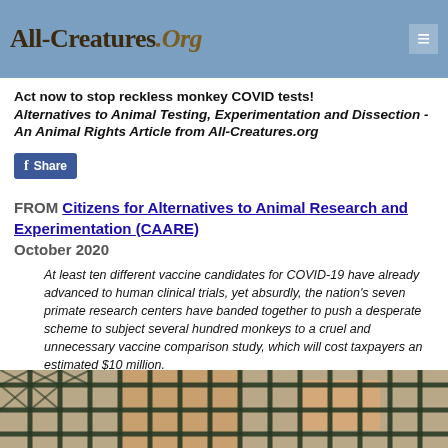All-Creatures.Org
Act now to stop reckless monkey COVID tests! Alternatives to Animal Testing, Experimentation and Dissection - An Animal Rights Article from All-Creatures.org
[Figure (other): Facebook Share button with Facebook logo icon]
FROM Citizens for Alternatives to Animal Research and Experimentation (CAARE)
October 2020
At least ten different vaccine candidates for COVID-19 have already advanced to human clinical trials, yet absurdly, the nation's seven primate research centers have banded together to push a desperate scheme to subject several hundred monkeys to a cruel and unnecessary vaccine comparison study, which will cost taxpayers an estimated $10 million.
[Figure (photo): Photo of a monkey behind metal cage mesh fencing]